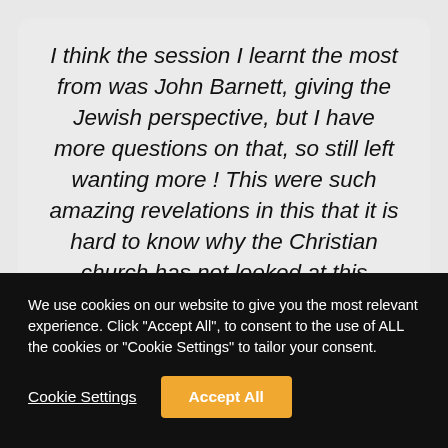I think the session I learnt the most from was John Barnett, giving the Jewish perspective, but I have more questions on that, so still left wanting more ! This were such amazing revelations in this that it is hard to know why the Christian church has not looked at this perspective in as
We use cookies on our website to give you the most relevant experience. Click "Accept All", to consent to the use of ALL the cookies or "Cookie Settings" to tailor your consent.
Cookie Settings
Accept All